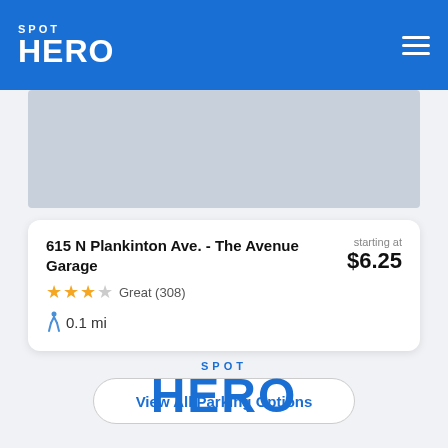SPOT HERO
[Figure (screenshot): Map area placeholder showing a light blue-gray map background]
615 N Plankinton Ave. - The Avenue Garage
Great (308)
0.1 mi
starting at $6.25
View All Parking Options
[Figure (logo): SpotHero logo in blue: SPOT above HERO in large bold text]